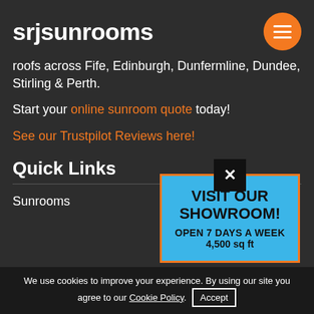srjsunrooms
roofs across Fife, Edinburgh, Dunfermline, Dundee, Stirling & Perth.
Start your online sunroom quote today!
See our Trustpilot Reviews here!
Quick Links
Sunrooms
[Figure (infographic): Popup modal with close button (X) on black background, cyan/blue box with orange border. Text reads: VISIT OUR SHOWROOM! OPEN 7 DAYS A WEEK 4,500 sq ft]
We use cookies to improve your experience. By using our site you agree to our Cookie Policy. Accept